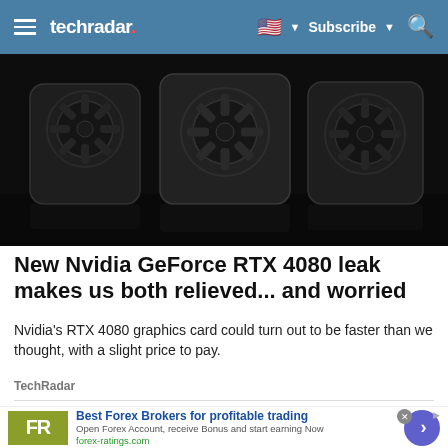techradar. | Subscribe | (search icon)
[Figure (photo): Multiple Nvidia GeForce RTX 40-series graphics cards displayed on a dark reflective surface, photographed in product style with dramatic lighting showing their fans and angular shrouds.]
New Nvidia GeForce RTX 4080 leak makes us both relieved... and worried
Nvidia's RTX 4080 graphics card could turn out to be faster than we thought, with a slight price to pay.
TechRadar
[Figure (photo): Partial view of a person with blonde hair and sunglasses against a light sky background — part of an advertisement.]
Best Forex Brokers for profitable trading
Open Forex Account, receive Bonus and start earning Now
forex-ratings.com